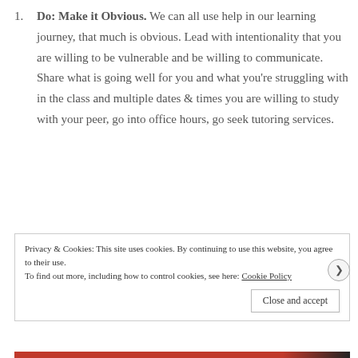Do: Make it Obvious. We can all use help in our learning journey, that much is obvious. Lead with intentionality that you are willing to be vulnerable and be willing to communicate. Share what is going well for you and what you're struggling with in the class and multiple dates & times you are willing to study with your peer, go into office hours, go seek tutoring services.
Privacy & Cookies: This site uses cookies. By continuing to use this website, you agree to their use. To find out more, including how to control cookies, see here: Cookie Policy
Close and accept